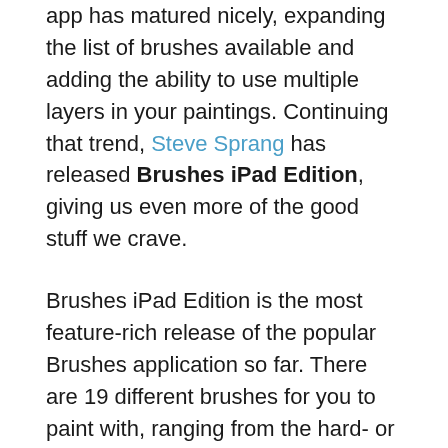app has matured nicely, expanding the list of brushes available and adding the ability to use multiple layers in your paintings. Continuing that trend, Steve Sprang has released Brushes iPad Edition, giving us even more of the good stuff we crave.
Brushes iPad Edition is the most feature-rich release of the popular Brushes application so far. There are 19 different brushes for you to paint with, ranging from the hard- or soft-edged round brushes to some nice texture brushes made of dots, lines or splotches. You can control the size, spacing, and transparency of these brushes by manipulating sliders in the brushes window. There’s also the option to have each brush vary in size and opacity depending on how fast you paint with it. All of these brushes and options apply to the eraser tool as well.